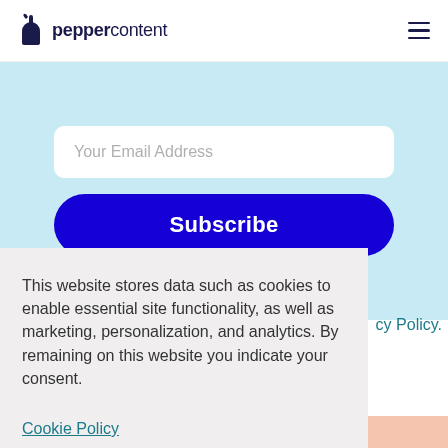peppercontent
[Figure (other): Email input field with placeholder 'Your Email Address' and a Subscribe button on a light blue background]
This website stores data such as cookies to enable essential site functionality, as well as marketing, personalization, and analytics. By remaining on this website you indicate your consent.
Cookie Policy